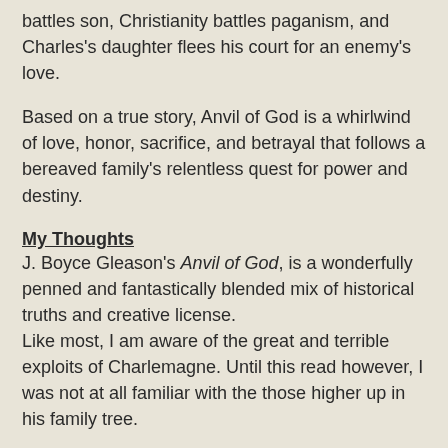battles son, Christianity battles paganism, and Charles's daughter flees his court for an enemy's love.
Based on a true story, Anvil of God is a whirlwind of love, honor, sacrifice, and betrayal that follows a bereaved family's relentless quest for power and destiny.
My Thoughts
J. Boyce Gleason's Anvil of God, is a wonderfully penned and fantastically blended mix of historical truths and creative license.
Like most, I am aware of the great and terrible exploits of Charlemagne. Until this read however, I was not at all familiar with the those higher up in his family tree.
In fact, what readers are presented with in this read is family drama at its best.
We have a dying ruler, Charles the Hammer, who is trying to do what he deems best for his family and his realm by dividing his lands among his sons and marrying off his daughter.